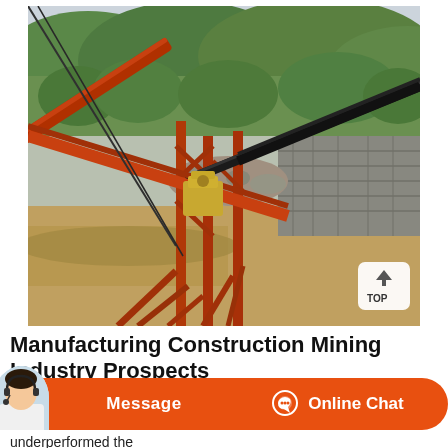[Figure (photo): Outdoor mining and construction site with heavy industrial conveyor belt equipment, crusher machines on orange metal frames, rocky terrain, stone walls, muddy ground, and forested hills in the background. A 'TOP' button is visible in the lower right corner of the photo.]
Manufacturing Construction Mining Industry Prospects
Message   Online Chat
underperformed the